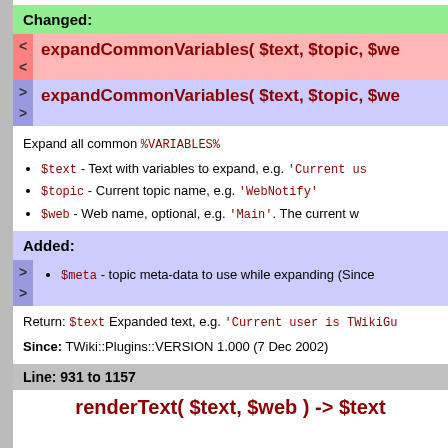Changed:
expandCommonVariables( $text, $topic, $web (old)
expandCommonVariables( $text, $topic, $web (new)
Expand all common %VARIABLES%
$text - Text with variables to expand, e.g. 'Current us...
$topic - Current topic name, e.g. 'WebNotify'
$web - Web name, optional, e.g. 'Main'. The current w...
Added:
$meta - topic meta-data to use while expanding (Since...
Return: $text Expanded text, e.g. 'Current user is TWikiGu...
Since: TWiki::Plugins::VERSION 1.000 (7 Dec 2002)
Line: 931 to 1157
renderText( $text, $web ) -> $text